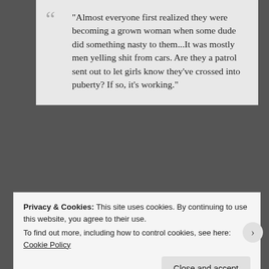“Almost everyone first realized they were becoming a grown woman when some dude did something nasty to them…It was mostly men yelling shit from cars. Are they a patrol sent out to let girls know they’ve crossed into puberty? If so, it’s working.”
[Figure (photo): Advertisement: Content Analytics Made Easy - with photo of woman in green top]
Privacy & Cookies: This site uses cookies. By continuing to use this website, you agree to their use.
To find out more, including how to control cookies, see here: Cookie Policy
Close and accept